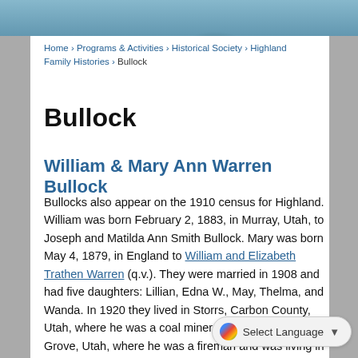[Figure (photo): Header photo showing water/lake scene with birds, teal/blue tones]
Home › Programs & Activities › Historical Society › Highland Family Histories › Bullock
Bullock
William & Mary Ann Warren Bullock
Bullocks also appear on the 1910 census for Highland. William was born February 2, 1883, in Murray, Utah, to Joseph and Matilda Ann Smith Bullock. Mary was born May 4, 1879, in England to William and Elizabeth Trathen Warren (q.v.). They were married in 1908 and had five daughters: Lillian, Edna W., May, Thelma, and Wanda. In 1920 they lived in Storrs, Carbon County, Utah, where he was a coal miner; in 1930 in Pleasant Grove, Utah, where he was a fireman a[nd] was living in Los Angeles, Califo[rnia]